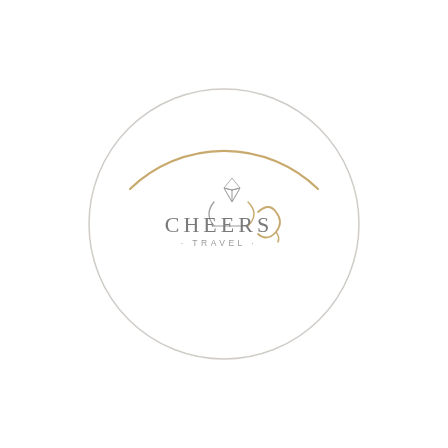[Figure (logo): Cheers Travel logo: a circular border (thin gold arc on top, thin light gray arc on bottom) with a diamond ring icon above the text 'CHEERS' in gray, and '· TRAVEL ·' in smaller gray text below, accompanied by a gold cursive swirl to the right of the text.]